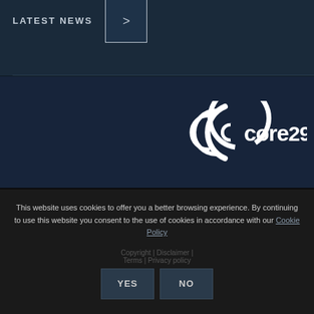LATEST NEWS
[Figure (logo): Core29 logo — stylized C arc with concentric curves on the left and 'core29' text on the right, all white on dark navy background]
This website uses cookies to offer you a better browsing experience. By continuing to use this website you consent to the use of cookies in accordance with our Cookie Policy
Copyright | Disclaimer | Terms | Privacy policy
YES   NO